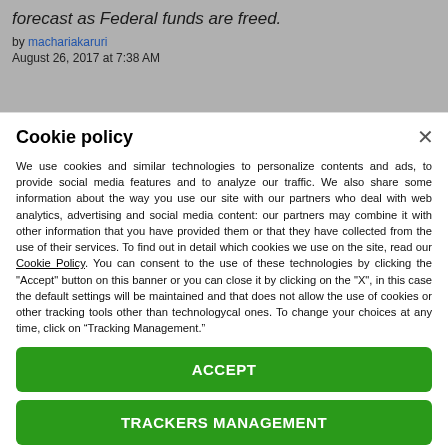forecast as Federal funds are freed.
by machariakaruri
August 26, 2017 at 7:38 AM
Cookie policy
We use cookies and similar technologies to personalize contents and ads, to provide social media features and to analyze our traffic. We also share some information about the way you use our site with our partners who deal with web analytics, advertising and social media content: our partners may combine it with other information that you have provided them or that they have collected from the use of their services. To find out in detail which cookies we use on the site, read our Cookie Policy. You can consent to the use of these technologies by clicking the "Accept" button on this banner or you can close it by clicking on the "X", in this case the default settings will be maintained and that does not allow the use of cookies or other tracking tools other than technologycal ones. To change your choices at any time, click on “Tracking Management.”
ACCEPT
TRACKERS MANAGEMENT
Show vendors | Show purposes